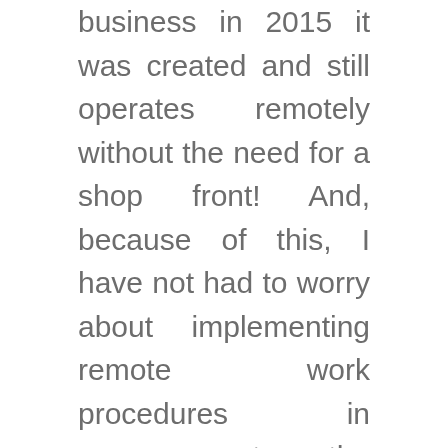business in 2015 it was created and still operates remotely without the need for a shop front!  And, because of this, I have not had to worry about implementing remote work procedures in response to the current Covid-19 pandemic other than implementing work practices to ensure the health safety of all involved.  These include increased sanitation, maintaining social distancing, cancelling all open homes and auctions and limiting the number of people allowed at an inspection at any given time.
Since One Agency Pinkerton Properties is a fully remote agency, we are not only